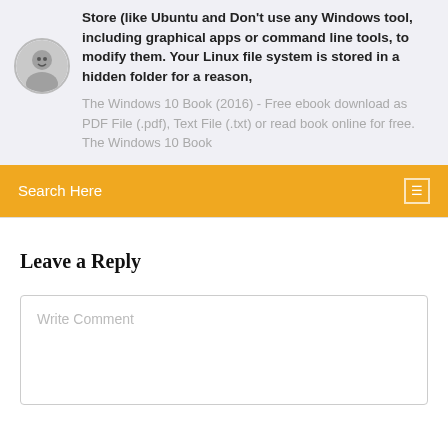Store (like Ubuntu and Don't use any Windows tool, including graphical apps or command line tools, to modify them. Your Linux file system is stored in a hidden folder for a reason,
[Figure (photo): Small circular avatar photo of a man]
The Windows 10 Book (2016) - Free ebook download as PDF File (.pdf), Text File (.txt) or read book online for free. The Windows 10 Book
Search Here
Leave a Reply
Write Comment